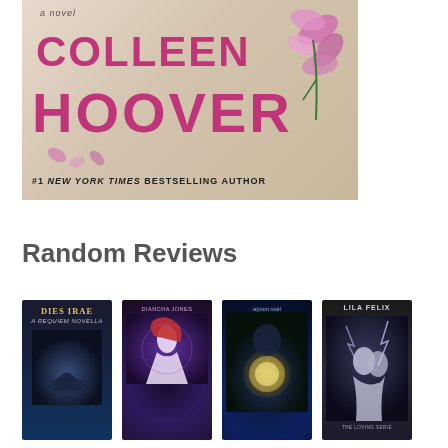[Figure (illustration): Book cover of a Colleen Hoover novel showing the author name 'COLLEEN HOOVER' in large magenta/purple letters on a light wood-grain background with pink orchid flowers. Text reads 'a novel' at top and '#1 NEW YORK TIMES BESTSELLING AUTHOR' at bottom.]
Random Reviews
[Figure (illustration): Book cover of 'Dies Irae - A Requiem Novella' with dark blue tones.]
[Figure (illustration): Book cover of 'Prophecy of the Most' by Diancha Jones with purple/dark tones showing a woman with red hair.]
[Figure (illustration): Book cover by Alyson Noel with dark blue tones showing a glowing orb.]
[Figure (illustration): Book cover by Lila Felix from The Loving Series with dark tones showing a couple.]